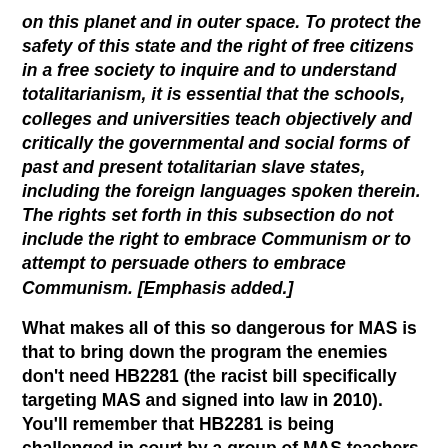on this planet and in outer space. To protect the safety of this state and the right of free citizens in a free society to inquire and to understand totalitarianism, it is essential that the schools, colleges and universities teach objectively and critically the governmental and social forms of past and present totalitarian slave states, including the foreign languages spoken therein. The rights set forth in this subsection do not include the right to embrace Communism or to attempt to persuade others to embrace Communism. [Emphasis added.]
What makes all of this so dangerous for MAS is that to bring down the program the enemies don't need HB2281 (the racist bill specifically targeting MAS and signed into law in 2010). You'll remember that HB2281 is being challenged in court by a group of MAS teachers from TUSD. The teachers and lawyers in the battle, their